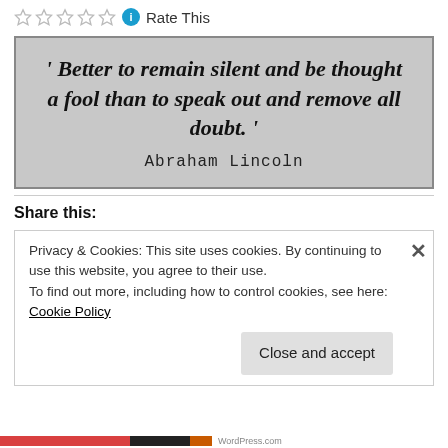Rate This
[Figure (illustration): Quote image with gray background: ' Better to remain silent and be thought a fool than to speak out and remove all doubt. ' — Abraham Lincoln]
Share this:
Privacy & Cookies: This site uses cookies. By continuing to use this website, you agree to their use. To find out more, including how to control cookies, see here: Cookie Policy